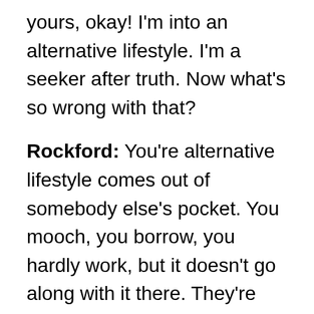yours, okay! I'm into an alternative lifestyle. I'm a seeker after truth. Now what's so wrong with that?
Rockford: You're alternative lifestyle comes out of somebody else's pocket. You mooch, you borrow, you hardly work, but it doesn't go along with it there. They're fascists, unmellow, competitive; all that love and freedom is just another way of saying me first!
Jane: It is not!